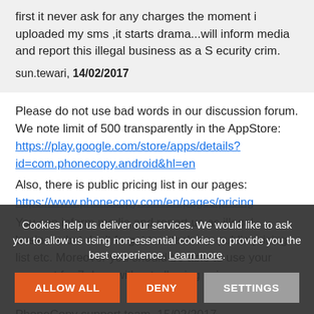first it never ask for any charges the moment i uploaded my sms ,it starts drama...will inform media and report this illegal business as a S ecurity crim.
sun.tewari, 14/02/2017
Please do not use bad words in our discussion forum. We note limit of 500 transparently in the AppStore: https://play.google.com/store/apps/details?id=com.phonecopy.android&hl=en
Also, there is public pricing list in our pages: https://www.phonecopy.com/en/pages/pricing
You can inform media and report us as illegal business but don't forget to attach our public pricing list etc. Moreover you should be able to use your account for 7 days without allowing using non-essential limits.
PhoneCopy support team, 15/02/2017
I have tried uninstalling and reinstalling the app but it
Cookies help us deliver our services. We would like to ask you to allow us using non-essential cookies to provide you the best experience. Learn more.